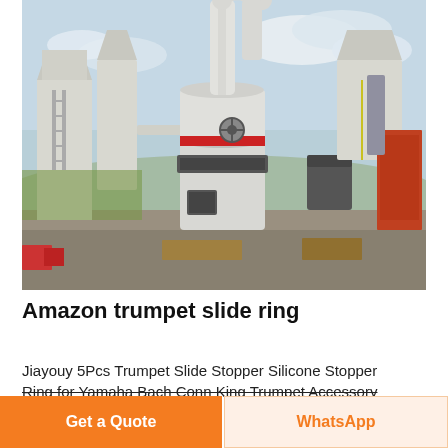[Figure (photo): Industrial milling/grinding machine facility with large white cylindrical equipment, silos, and pipes against a cloudy sky background.]
Amazon trumpet slide ring
Jiayouy 5Pcs Trumpet Slide Stopper Silicone Stopper Ring for Yamaha Bach Conn King Trumpet Accessory
Get a Quote
WhatsApp